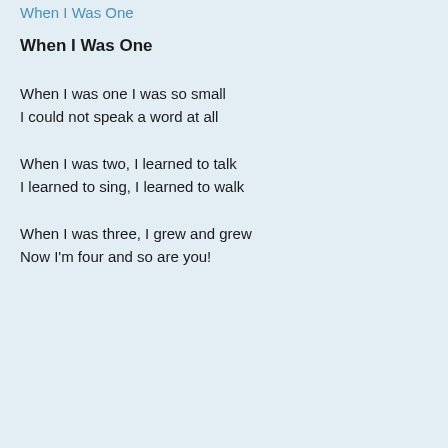When I Was One
When I Was One
When I was one I was so small
I could not speak a word at all
When I was two, I learned to talk
I learned to sing, I learned to walk
When I was three, I grew and grew
Now I'm four and so are you!